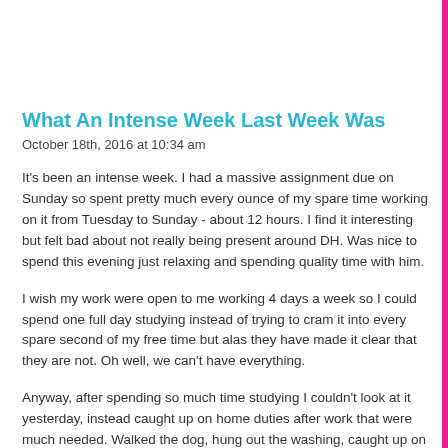What An Intense Week Last Week Was
October 18th, 2016 at 10:34 am
It's been an intense week. I had a massive assignment due on Sunday so spent pretty much every ounce of my spare time working on it from Tuesday to Sunday - about 12 hours. I find it interesting but felt bad about not really being present around DH. Was nice to spend this evening just relaxing and spending quality time with him.
I wish my work were open to me working 4 days a week so I could spend one full day studying instead of trying to cram it into every spare second of my free time but alas they have made it clear that they are not. Oh well, we can't have everything.
Anyway, after spending so much time studying I couldn't look at it yesterday, instead caught up on home duties after work that were much needed. Walked the dog, hung out the washing, caught up on dishes, cleaned the ensuite (really needed it), folded the washing, I think that's enough until next weekend. Need to go to the gym because I haven't been